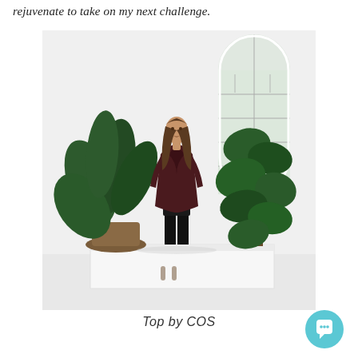rejuvenate to take on my next challenge.
[Figure (photo): A man with long hair wearing a dark burgundy/maroon long-sleeve dress coat and black knee-high boots, standing on top of a white cabinet. He is surrounded by large tropical plants (bird of paradise on the left, fiddle-leaf fig on the right). In the background is a white wall with a tall arched window with geometric paned glass.]
Top by COS